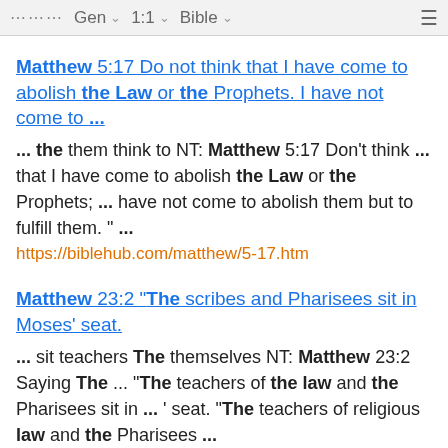⠿ Gen ˅  1:1 ˅  Bible ˅  ≡
Matthew 5:17 Do not think that I have come to abolish the Law or the Prophets. I have not come to ...
... the them think to NT: Matthew 5:17 Don't think ... that I have come to abolish the Law or the Prophets; ... have not come to abolish them but to fulfill them. " ...
https://biblehub.com/matthew/5-17.htm
Matthew 23:2 "The scribes and Pharisees sit in Moses' seat.
... sit teachers The themselves NT: Matthew 23:2 Saying The ... "The teachers of the law and the Pharisees sit in ... ' seat. "The teachers of religious law and the Pharisees ...